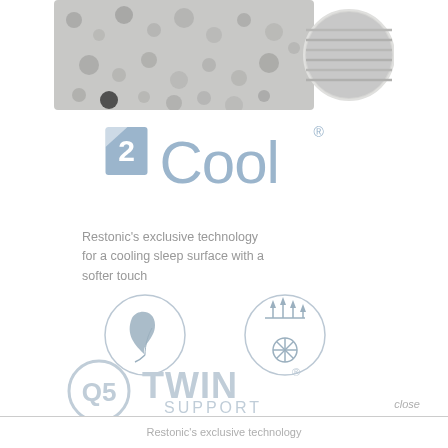[Figure (photo): Close-up photo of foam/material texture and a circular close-up inset at top of page]
[Figure (logo): 2Cool brand logo in light blue with registered trademark symbol]
Restonic's exclusive technology for a cooling sleep surface with a softer touch
[Figure (infographic): Two circular icons: left shows a feather/soft touch icon, right shows airflow/fan icon representing cooling technology]
[Figure (logo): Q5 Twin Support logo in light blue/grey]
close
Restonic's exclusive technology